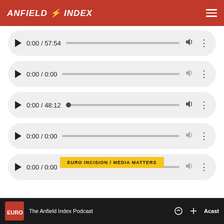ANFIELD INDEX
[Figure (screenshot): Audio player 1: 0:00 / 57:54 with progress bar, volume and options icons]
[Figure (screenshot): Audio player 2: 0:00 / 0:00 with progress bar, volume and options icons]
[Figure (screenshot): Audio player 3: 0:00 / 48:12 with progress bar (dot at start), volume and options icons]
[Figure (screenshot): Audio player 4: 0:00 / 0:00 with progress bar, volume and options icons]
[Figure (screenshot): Audio player 5: 0:00 / 0:00 with progress bar, volume and options icons]
EURO INCISION / MEDIA MATTERS
The Anfield Index Podcast | Acast